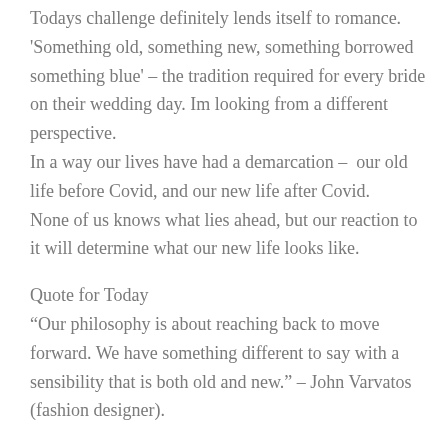Todays challenge definitely lends itself to romance. 'Something old, something new, something borrowed something blue' – the tradition required for every bride on their wedding day. Im looking from a different perspective.
In a way our lives have had a demarcation –  our old life before Covid, and our new life after Covid.
None of us knows what lies ahead, but our reaction to it will determine what our new life looks like.
Quote for Today
“Our philosophy is about reaching back to move forward. We have something different to say with a sensibility that is both old and new.” – John Varvatos (fashion designer).